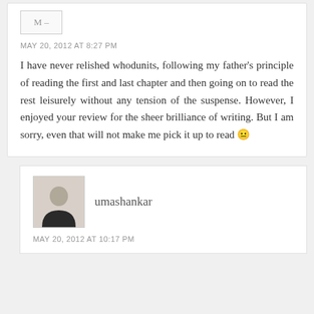[Figure (illustration): Avatar placeholder icon with 'M-' text, top of first comment block]
MAY 20, 2012 AT 8:27 PM
I have never relished whodunits, following my father's principle of reading the first and last chapter and then going on to read the rest leisurely without any tension of the suspense. However, I enjoyed your review for the sheer brilliance of writing. But I am sorry, even that will not make me pick it up to read 😐
[Figure (photo): Profile photo of umashankar, a man in a dark jacket]
umashankar
MAY 20, 2012 AT 10:17 PM